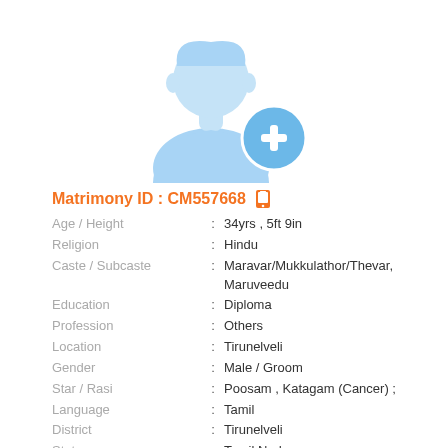[Figure (illustration): Generic male profile silhouette icon in blue with a blue circle plus/add button overlay in the bottom right]
Matrimony ID : CM557668 [mobile icon]
| Age / Height | : | 34yrs , 5ft 9in |
| Religion | : | Hindu |
| Caste / Subcaste | : | Maravar/Mukkulathor/Thevar, Maruveedu |
| Education | : | Diploma |
| Profession | : | Others |
| Location | : | Tirunelveli |
| Gender | : | Male / Groom |
| Star / Rasi | : | Poosam , Katagam (Cancer) ; |
| Language | : | Tamil |
| District | : | Tirunelveli |
| State | : | Tamil Nadu |
| Country | : | India |